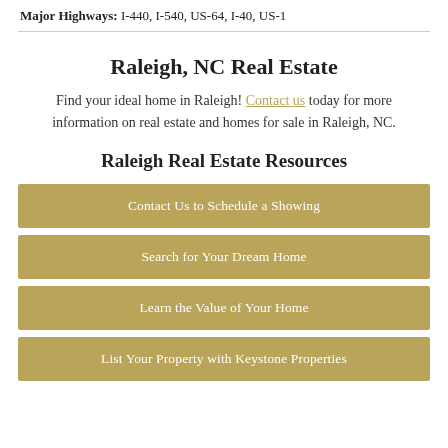Major Highways: I-440, I-540, US-64, I-40, US-1
Raleigh, NC Real Estate
Find your ideal home in Raleigh! Contact us today for more information on real estate and homes for sale in Raleigh, NC.
Raleigh Real Estate Resources
Contact Us to Schedule a Showing
Search for Your Dream Home
Learn the Value of Your Home
List Your Property with Keystone Properties